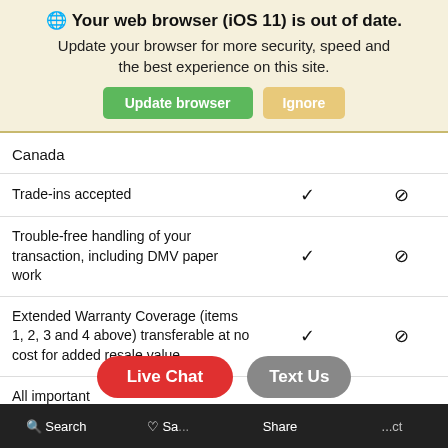[Figure (screenshot): Browser warning banner: globe icon, bold title 'Your web browser (iOS 11) is out of date.', subtitle 'Update your browser for more security, speed and the best experience on this site.', green 'Update browser' button and tan 'Ignore' button.]
|  |  |  |
| --- | --- | --- |
| Canada |  |  |
| Trade-ins accepted | ✓ | ⊘ |
| Trouble-free handling of your transaction, including DMV paper work | ✓ | ⊘ |
| Extended Warranty Coverage (items 1, 2, 3 and 4 above) transferable at no cost for added resale value | ✓ | ⊘ |
| All important |  |  |
🔍 Search  ♡ Sa...  Share  ...ct
[Figure (screenshot): Floating buttons: red 'Live Chat' pill button and gray 'Text Us' pill button at the bottom of the screen.]